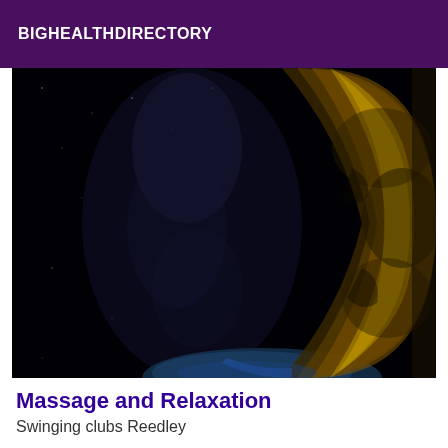BIGHEALTHDIRECTORY
[Figure (photo): Space/astronomy photo showing a planet or Earth's limb with golden/amber atmosphere curving on the right side, dark space and milky way galaxy visible on the left, dramatic contrast between darkness and illuminated planetary surface]
Massage and Relaxation
Swinging clubs Reedley